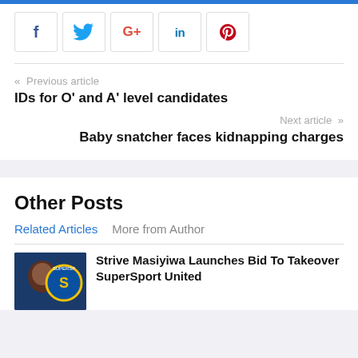[Figure (other): Social media share buttons: Facebook (f), Twitter, Google+, LinkedIn (in), Pinterest]
« Previous article
IDs for O' and A' level candidates
Next article »
Baby snatcher faces kidnapping charges
Other Posts
Related Articles   More from Author
[Figure (photo): Thumbnail photo of person in front of SuperSport logo]
Strive Masiyiwa Launches Bid To Takeover SuperSport United